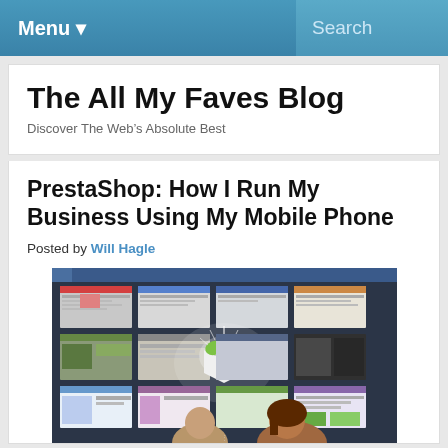Menu ▾   Search
The All My Faves Blog
Discover The Web's Absolute Best
PrestaShop: How I Run My Business Using My Mobile Phone
Posted by Will Hagle
[Figure (screenshot): PrestaShop promotional banner showing a grid of e-commerce website screenshots with the PrestaShop logo (open box with green packages) in the center, and two people looking up at the display in the foreground.]